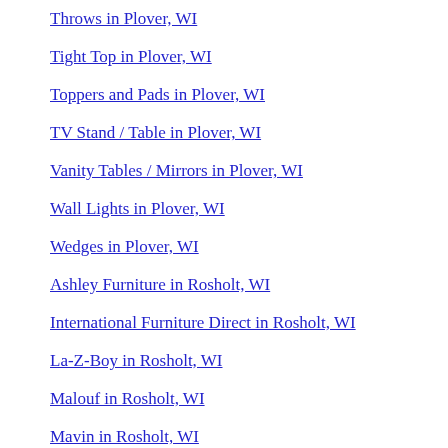Throws in Plover, WI
Tight Top in Plover, WI
Toppers and Pads in Plover, WI
TV Stand / Table in Plover, WI
Vanity Tables / Mirrors in Plover, WI
Wall Lights in Plover, WI
Wedges in Plover, WI
Ashley Furniture in Rosholt, WI
International Furniture Direct in Rosholt, WI
La-Z-Boy in Rosholt, WI
Malouf in Rosholt, WI
Mavin in Rosholt, WI
Restonic in Rosholt, WI